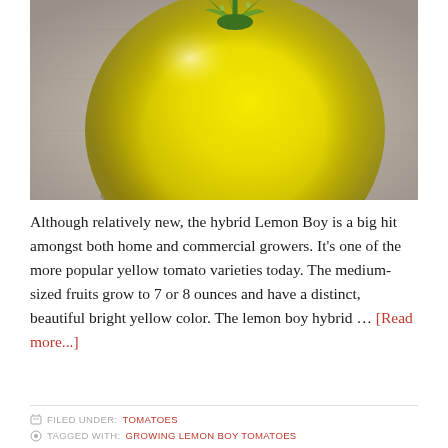[Figure (photo): Close-up photograph of a bright yellow Lemon Boy tomato with green stem/calyx on a light gray background]
Although relatively new, the hybrid Lemon Boy is a big hit amongst both home and commercial growers. It's one of the more popular yellow tomato varieties today. The medium-sized fruits grow to 7 or 8 ounces and have a distinct, beautiful bright yellow color. The lemon boy hybrid … [Read more...]
FILED UNDER: TOMATOES
TAGGED WITH: GROWING LEMON BOY TOMATOES